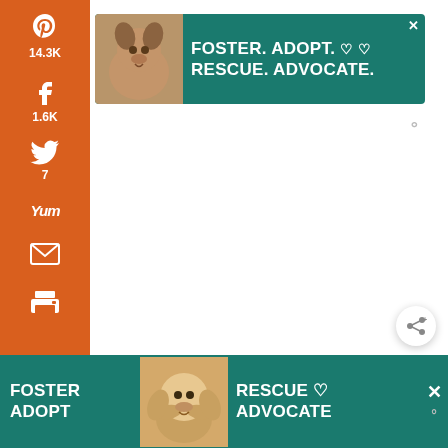[Figure (screenshot): Left vertical social share sidebar with orange background. Icons for Pinterest (14.3K), Facebook (1.6K), Twitter (7), Yummly, Email, Print. Below sidebar: 15.8K SHARES text.]
[Figure (screenshot): Top advertisement banner for pet adoption: teal/green background, pitbull dog image on left, white bold text FOSTER. ADOPT. RESCUE. ADVOCATE. with heart icons, close X button top right.]
[Figure (screenshot): Matterport watermark logo (III degree symbol) in light gray on the right side of the main content area.]
[Figure (screenshot): Round white share button with share icon (arrow with plus) on right side.]
15.8K
SHARES
[Figure (screenshot): Bottom ad bar: teal background, beagle dog image, white bold text FOSTER ADOPT RESCUE ADVOCATE, heart icon, close X button, Matterport watermark on far right.]